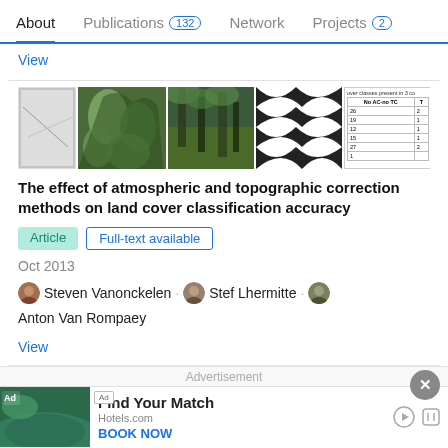About | Publications 132 | Network | Projects 2
View
[Figure (photo): Collage of 6 images: a map/diagram, aerial forest image, forest ground photo, black-and-white striped pattern image, a table with land cover data, and a color composite image with +2 badge]
The effect of atmospheric and topographic correction methods on land cover classification accuracy
Article | Full-text available
Oct 2013
Steven Vanonckelen · Stef Lhermitte · Anton Van Rompaey
View
Advertisement
[Figure (photo): Hotels.com advertisement with forest/lake image, Find Your Match heading, Hotels.com domain, and BOOK NOW button]